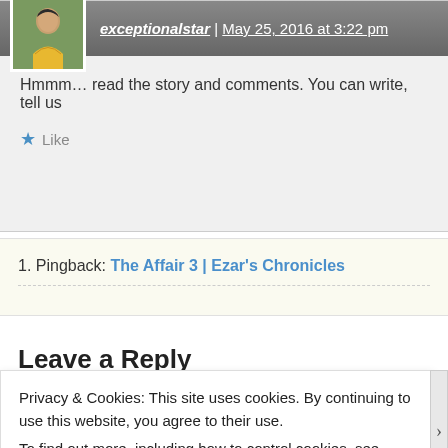exceptionalstar | May 25, 2016 at 3:22 pm
Hmmm… read the story and comments. You can write, tell us
★ Like
1. Pingback: The Affair 3 | Ezar's Chronicles
Leave a Reply
Privacy & Cookies: This site uses cookies. By continuing to use this website, you agree to their use.
To find out more, including how to control cookies, see here: Cookie Policy
Close and accept